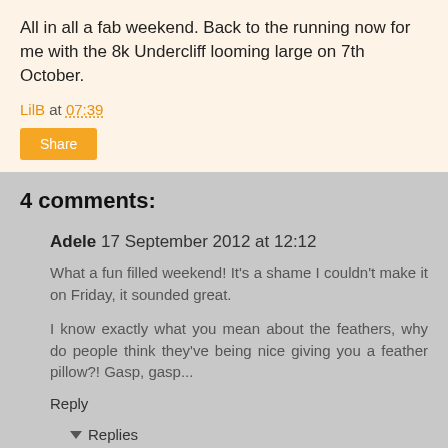All in all a fab weekend.  Back to the running now for me with the 8k Undercliff looming large on 7th October.
LilB at 07:39
4 comments:
Adele  17 September 2012 at 12:12
What a fun filled weekend! It's a shame I couldn't make it on Friday, it sounded great.

I know exactly what you mean about the feathers, why do people think they've being nice giving you a feather pillow?! Gasp, gasp...
Reply
Replies